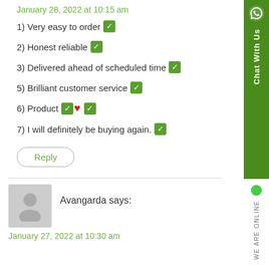January 28, 2022 at 10:15 am
1) Very easy to order ✅
2) Honest reliable ✅
3) Delivered ahead of scheduled time ✅
5) Brilliant customer service ✅
6) Product ✅❤️✅
7) I will definitely be buying again.✅
Reply
Avangarda says:
January 27, 2022 at 10:30 am